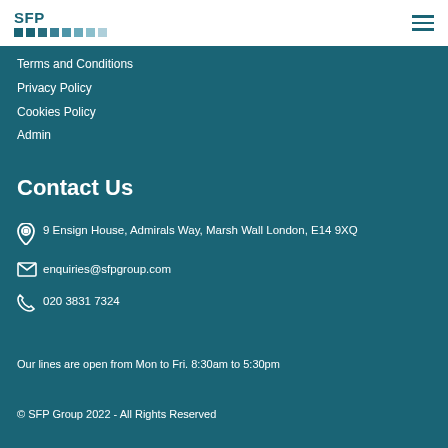[Figure (logo): SFP logo with colored square dots in a row]
Terms and Conditions
Privacy Policy
Cookies Policy
Admin
Contact Us
9 Ensign House, Admirals Way, Marsh Wall London, E14 9XQ
enquiries@sfpgroup.com
020 3831 7324
Our lines are open from Mon to Fri. 8:30am to 5:30pm
© SFP Group 2022 - All Rights Reserved